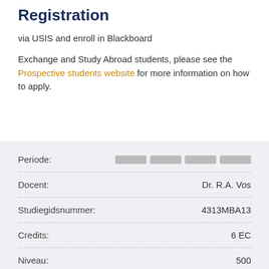Registration
via USIS and enroll in Blackboard
Exchange and Study Abroad students, please see the Prospective students website for more information on how to apply.
| Field | Value |
| --- | --- |
| Periode: |  |
| Docent: | Dr. R.A. Vos |
| Studiegidsnummer: | 4313MBA13 |
| Credits: | 6 EC |
| Niveau: | 500 |
| Locatie: | Leiden |